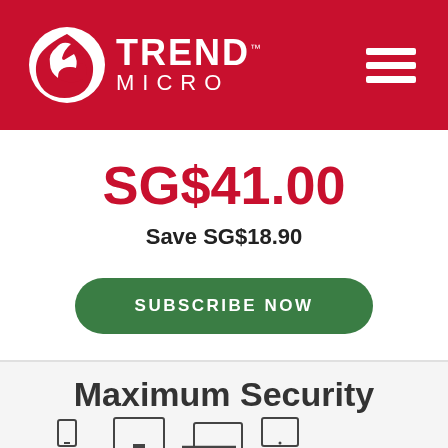[Figure (logo): Trend Micro logo with red background header, white circular logo mark, and hamburger menu icon on the right]
SG$41.00
Save SG$18.90
SUBSCRIBE NOW
Maximum Security
[Figure (illustration): Device icons showing phone, desktop monitor, laptop, and tablet]